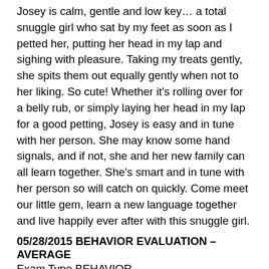Josey is calm, gentle and low key… a total snuggle girl who sat by my feet as soon as I petted her, putting her head in my lap and sighing with pleasure. Taking my treats gently, she spits them out equally gently when not to her liking. So cute! Whether it's rolling over for a belly rub, or simply laying her head in my lap for a good petting, Josey is easy and in tune with her person. She may know some hand signals, and if not, she and her new family can all learn together. She's smart and in tune with her person so will catch on quickly. Come meet our little gem, learn a new language together and live happily ever after with this snuggle girl.
05/28/2015 BEHAVIOR EVALUATION – AVERAGE
Exam Type BEHAVIOR
Josey was walks calmly on leash. She was calm and relaxed during handling. Josey was distracted, focused on objects in the room rather than the handler during the exam. She did not make hard eye contact with the examiner.